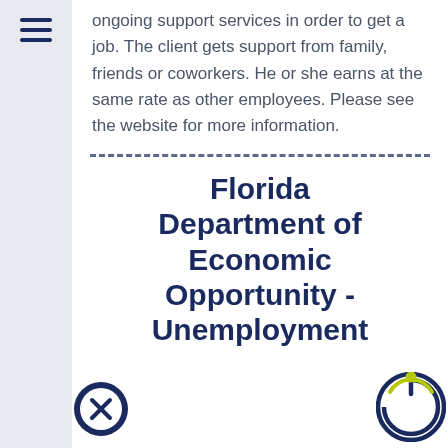ongoing support services in order to get a job. The client gets support from family, friends or coworkers. He or she earns at the same rate as other employees. Please see the website for more information.
Florida Department of Economic Opportunity - Unemployment